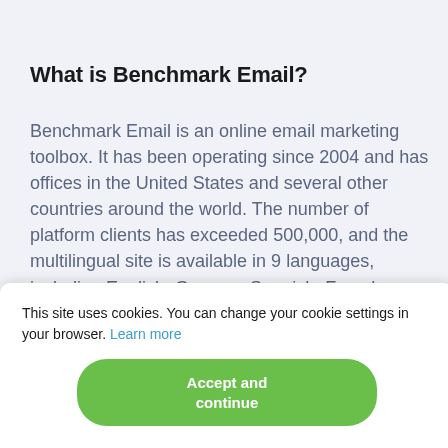What is Benchmark Email?
Benchmark Email is an online email marketing toolbox. It has been operating since 2004 and has offices in the United States and several other countries around the world. The number of platform clients has exceeded 500,000, and the multilingual site is available in 9 languages, including English, German, Spanish, French, Chinese and a number of others.
This site uses cookies. You can change your cookie settings in your browser. Learn more
Accept and continue